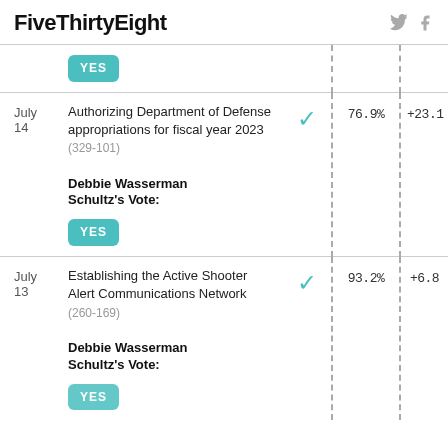FiveThirtyEight
| Date | Bill | Pass? | % | +/- |
| --- | --- | --- | --- | --- |
| July 14 | Authorizing Department of Defense appropriations for fiscal year 2023 (329-101)
Debbie Wasserman Schultz's Vote: YES | ✓ | 76.9% | +23.1 |
| July 13 | Establishing the Active Shooter Alert Communications Network (260-169)
Debbie Wasserman Schultz's Vote: YES | ✓ | 93.2% | +6.8 |